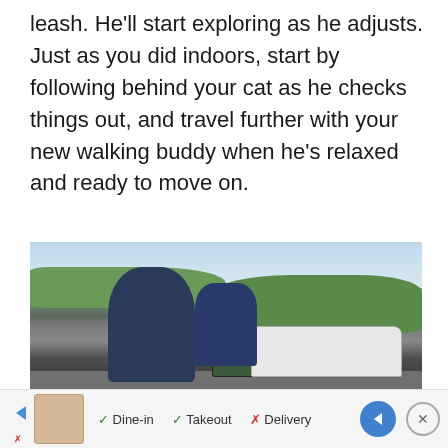leash. He'll start exploring as he adjusts. Just as you did indoors, start by following behind your cat as he checks things out, and travel further with your new walking buddy when he's relaxed and ready to move on.
[Figure (photo): Two men standing in a parking lot. One man in a dark blue jacket is in the foreground, another man in a blue shirt with arms crossed and sunglasses is in the background. Cars including a dark green and white car are visible, along with trimmed hedges and sky.]
Dine-in  Takeout  Delivery